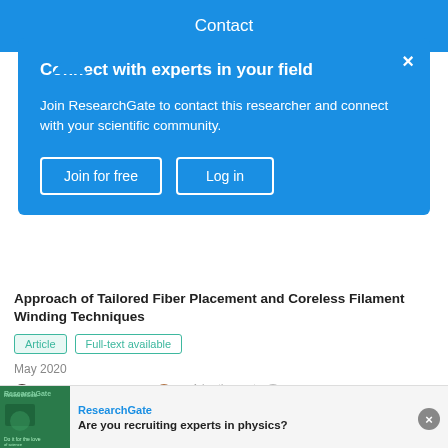Contact
Connect with experts in your field
Join ResearchGate to contact this researcher and connect with your scientific community.
Join for free   Log in
Approach of Tailored Fiber Placement and Coreless Filament Winding Techniques
Article   Full-text available
May 2020
Vanessa Costalonga · Sacha Cutajar · Christo van der Hoven · [...] · Hanaa Dahy
It has become clear over the last decade that the building industry must rapidly change to meet globally pressing
Advertisement
ResearchGate
Are you recruiting experts in physics?